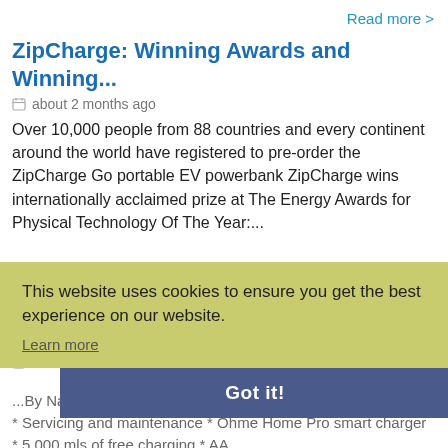Read more >
ZipCharge: Winning Awards and Winning...
about 2 months ago
Over 10,000 people from 88 countries and every continent around the world have registered to pre-order the ZipCharge Go portable EV powerbank ZipCharge wins internationally acclaimed prize at The Energy Awards for Physical Technology Of The Year:...
This website uses cookies to ensure you get the best experience on our website.
Learn more
Octopus and Ohme offer 'ultimate' EV...
Read more >
about 2 months ago
Got it!
...By Natalie Middleton courtesy of Fleet World News * New car * Servicing and maintenance * Ohme Home Pro smart charger * 5,000 mls of free charging * AA